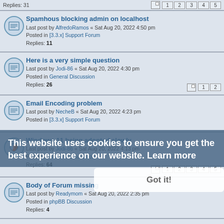Spamhous blocking admin on localhost — Last post by AlfredoRamos « Sat Aug 20, 2022 4:50 pm — Posted in [3.3.x] Support Forum — Replies: 11
Here is a very simple question — Last post by Jodi-86 « Sat Aug 20, 2022 4:30 pm — Posted in General Discussion — Replies: 26
Email Encoding problem — Last post by NecheB « Sat Aug 20, 2022 4:23 pm — Posted in [3.3.x] Support Forum
Windows 11 being adopted slowly — Last post by Jodi-86 « Sat Aug 20, 2022 4:13 pm — Posted in General Discussion — Replies: 64
Body of Forum missing — Last post by Readymom « Sat Aug 20, 2022 2:35 pm — Posted in phpBB Discussion — Replies: 4
Comprehensive Generic data importer for users + posts — Last post by wilsonlogan « Sat Aug 20, 2022 2:23 pm — Posted in Wanted! — Replies: 4
STATISTICS from another planet — Last post by Mick « Sat Aug 20, 2022 1:04 pm — Posted in [3.3.x] Support Forum — Replies: 33
This website uses cookies to ensure you get the best experience on our website. Learn more
Got it!